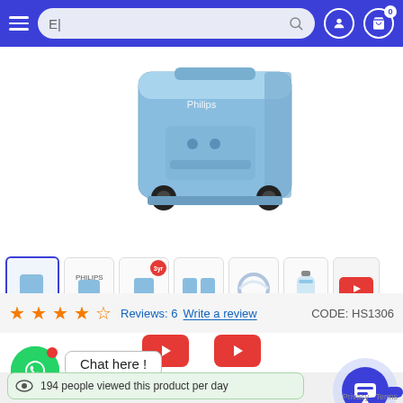[Figure (screenshot): E-commerce website header with hamburger menu, search bar with text 'E|', user icon, and cart icon with badge 0, on blue background]
[Figure (photo): Philips oxygen concentrator machine in light blue color with wheels, shown from bottom/side angle]
[Figure (screenshot): Product thumbnail strip with 6 product thumbnails (first selected with blue border), one YouTube video thumbnail, and two YouTube play buttons below]
★★★★☆  Reviews: 6  Write a review  CODE: HS1306
[Figure (screenshot): WhatsApp chat button (green circle with WhatsApp logo and red notification dot), Chat here! speech bubble, blue chat assistant circle button on right]
194 people viewed this product per day
Privacy · Terms